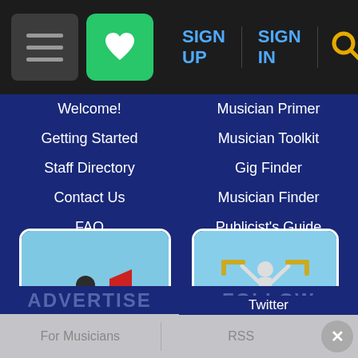SIGN UP | SIGN IN
Welcome!
Getting Started
Staff Directory
Contact Us
FAQ
Musician Primer
Musician Toolkit
Gig Finder
Musician Finder
Publicist's Guide
[Figure (photo): Person in suit shouting through a red megaphone on grass with blue sky]
ADVERTISE
Place Order
Rates and Options
For Musicians
[Figure (photo): Musician on stage with arms raised holding trombone above a large crowd]
FOLLOW
Newsletter
Embeddables
RSS
Twitter